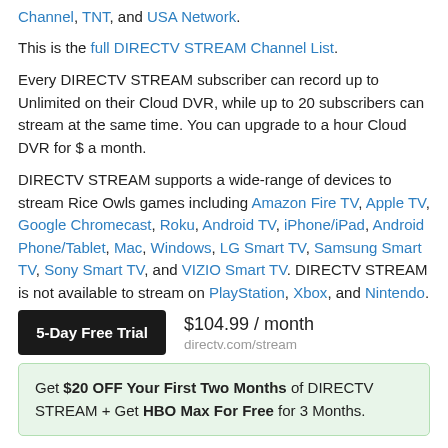Channel, TNT, and USA Network.
This is the full DIRECTV STREAM Channel List.
Every DIRECTV STREAM subscriber can record up to Unlimited on their Cloud DVR, while up to 20 subscribers can stream at the same time. You can upgrade to a hour Cloud DVR for $ a month.
DIRECTV STREAM supports a wide-range of devices to stream Rice Owls games including Amazon Fire TV, Apple TV, Google Chromecast, Roku, Android TV, iPhone/iPad, Android Phone/Tablet, Mac, Windows, LG Smart TV, Samsung Smart TV, Sony Smart TV, and VIZIO Smart TV. DIRECTV STREAM is not available to stream on PlayStation, Xbox, and Nintendo.
5-Day Free Trial  $104.99 / month  directv.com/stream
Get $20 OFF Your First Two Months of DIRECTV STREAM + Get HBO Max For Free for 3 Months.